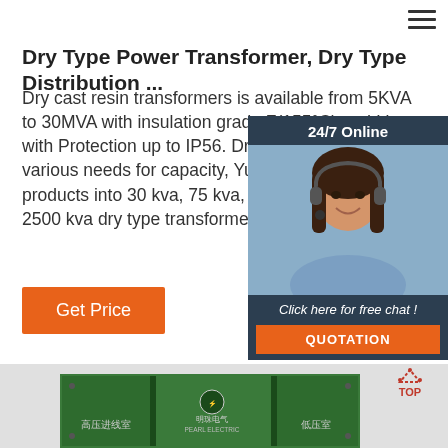☰
Dry Type Power Transformer, Dry Type Distribution ...
Dry cast resin transformers is available from 5KVA to 30MVA with insulation grade F(155°C) and It's with Protection up to IP56. Dry Type T... Types For various needs for capacity, Yue... divide our products into 30 kva, 75 kva, 15... kva, 750 kva, 2500 kva dry type transforme...
[Figure (photo): 24/7 Online chat widget with a woman wearing a headset, dark navy background, 'Click here for free chat!' text, and orange QUOTATION button]
Get Price
[Figure (photo): Green electrical distribution transformer/box with Chinese text labels (高压进线室, 明珠电气 PEARL ELECTRIC, 低压室) on a light grey background, with a red TOP arrow icon in the bottom right]